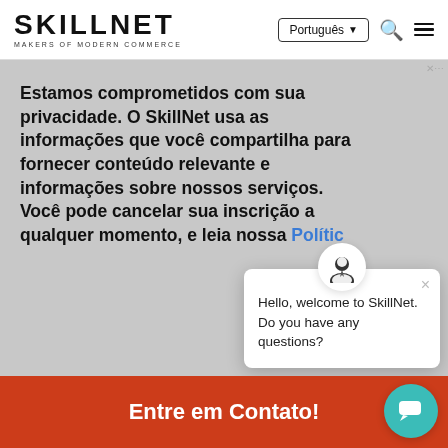SKILLNET — MAKERS OF MODERN COMMERCE | Português | search | menu
Estamos comprometidos com sua privacidade. O SkillNet usa as informações que você compartilha para fornecer conteúdo relevante e informações sobre nossos serviços. Você pode cancelar sua inscrição a qualquer momento, e leia nossa Política
[Figure (screenshot): Chat popup overlay with avatar icon saying: Hello, welcome to SkillNet. Do you have any questions?]
Entre em Contato!